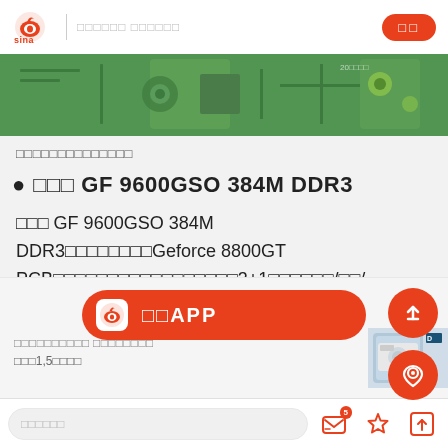Sina | □□□□□□ □□□□□□
[Figure (photo): Green circuit board PCB close-up photo strip]
□□□□□□□□□□□□□□
● □□□ GF 9600GSO 384M DDR3
□□□ GF 9600GSO 384M DDR3□□□□□□□□Geforce 8800GT PCB□□□□□□□□□□□□□□□□□3+1□□□□□□/□□/□□□□□384MB 600/1500/1800MHz□
[Figure (screenshot): Sina APP download CTA button with logo]
□□□□□□□□□□ □□□□□□□□
□□□1,5□□□□
[Figure (photo): Small thumbnail of air conditioning outdoor unit]
□□□□□□ (comment input bar with icons)